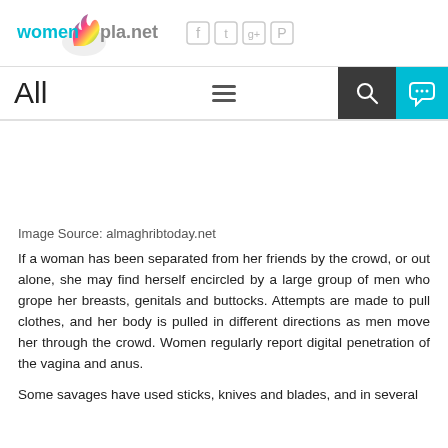[Figure (logo): women(pla.net logo with colorful flame icon, social media icons (Facebook, Twitter, Google+, Pinterest) in gray]
All
[Figure (photo): Image placeholder area (white/blank space)]
Image Source: almaghribtoday.net
If a woman has been separated from her friends by the crowd, or out alone, she may find herself encircled by a large group of men who grope her breasts, genitals and buttocks. Attempts are made to pull clothes, and her body is pulled in different directions as men move her through the crowd. Women regularly report digital penetration of the vagina and anus.
Some savages have used sticks, knives and blades, and in several